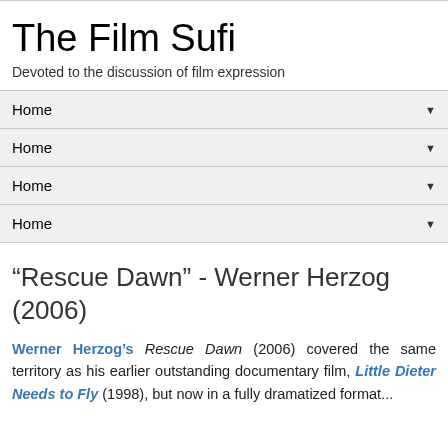The Film Sufi
Devoted to the discussion of film expression
Home
Home
Home
Home
“Rescue Dawn” - Werner Herzog (2006)
Werner Herzog’s Rescue Dawn (2006) covered the same territory as his earlier outstanding documentary film, Little Dieter Needs to Fly (1998), but now in a fully dramatized format...